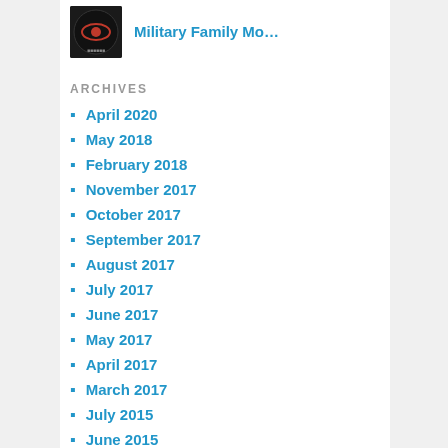[Figure (logo): Dark circular logo thumbnail for Military Family Mo...]
Military Family Mo...
ARCHIVES
April 2020
May 2018
February 2018
November 2017
October 2017
September 2017
August 2017
July 2017
June 2017
May 2017
April 2017
March 2017
July 2015
June 2015
May 2015
April 2015
March 2015